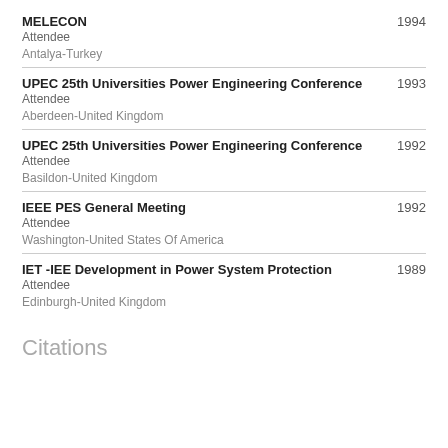MELECON 1994
Attendee
Antalya-Turkey
UPEC 25th Universities Power Engineering Conference 1993
Attendee
Aberdeen-United Kingdom
UPEC 25th Universities Power Engineering Conference 1992
Attendee
Basildon-United Kingdom
IEEE PES General Meeting 1992
Attendee
Washington-United States Of America
IET -IEE Development in Power System Protection 1989
Attendee
Edinburgh-United Kingdom
Citations